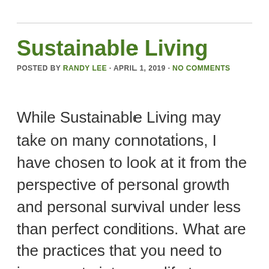Sustainable Living
POSTED BY RANDY LEE · APRIL 1, 2019 · NO COMMENTS
While Sustainable Living may take on many connotations, I have chosen to look at it from the perspective of personal growth and personal survival under less than perfect conditions. What are the practices that you need to incorporate into your life to ensure that you have a healthy, fulfilling life when all the world around you